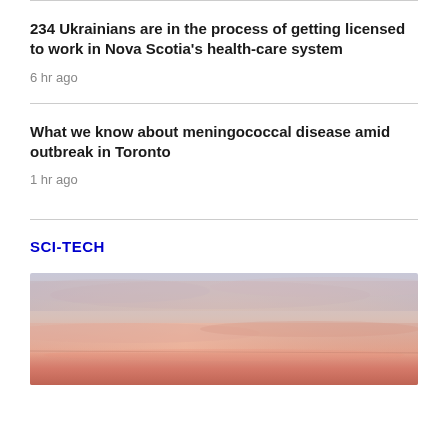234 Ukrainians are in the process of getting licensed to work in Nova Scotia's health-care system
6 hr ago
What we know about meningococcal disease amid outbreak in Toronto
1 hr ago
SCI-TECH
[Figure (photo): Sunset sky with pink and orange hues over a horizon, muted warm tones]